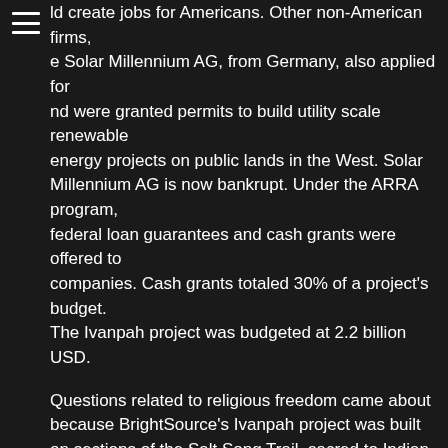ld create jobs for Americans. Other non-American firms, e Solar Millennium AG, from Germany, also applied for nd were granted permits to build utility scale renewable energy projects on public lands in the West. Solar Millennium AG is now bankrupt. Under the ARRA program, federal loan guarantees and cash grants were offered to companies. Cash grants totaled 30% of a project's budget. The Ivanpah project was budgeted at 2.2 billion USD.
Questions related to religious freedom came about because BrightSource's Ivanpah project was built on sections of the Salt Song Trail, sacred to Indian tribes and groups, including the Chemehuevi and Southern Paiute. The case was argued under RFRA, the Religious Freedom Restoration Act of 1993. The law mandates that strict scrutiny be used when determining whether the Free Exercise Clause of the First Amendment to the United States Constitution, guaranteeing religious freedom, has been violated.
The First Amendment of the Constitution of the United States states that “Congress shall make no law respecting an establishment of religion, or prohibiting the free exercise thereof”. The first part, known as the Establishment Clause, comes into play whenever the government takes an action that …